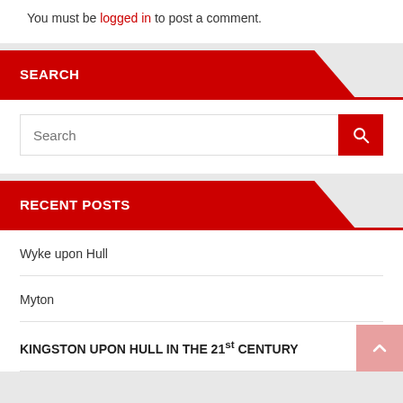You must be logged in to post a comment.
SEARCH
[Figure (other): Search input box with red search button containing a magnifying glass icon]
RECENT POSTS
Wyke upon Hull
Myton
KINGSTON UPON HULL IN THE 21st CENTURY